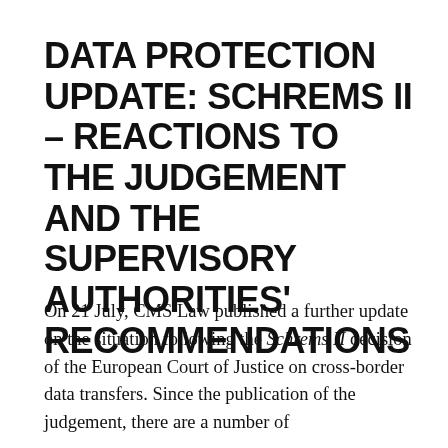DATA PROTECTION UPDATE: SCHREMS II – REACTIONS TO THE JUDGEMENT AND THE SUPERVISORY AUTHORITIES' RECOMMENDATIONS
On 21 July, CMS Law published a further update on the situation following the Schrems II decision of the European Court of Justice on cross-border data transfers.  Since the publication of the judgement, there are a number of